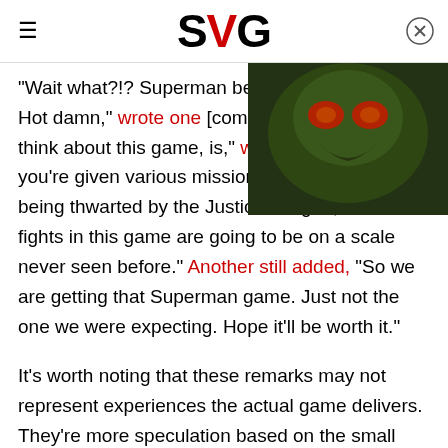SVG
[Figure (photo): Dark video thumbnail showing a green-skinned villain character with glowing red eyes, with a white play button triangle overlay]
"Wait what?!? Superman being in Suicide Squad? Hot damn," wrote one [commenter]. "The more I think about this game, [the better it] is," wrote another. "If you're given various missions and you're always being thwarted by the Justice League, the Boss fights in this game are going to be on a scale never seen before." Another still added, "So we are getting that Superman game. Just not the one we were expecting. Hope it'll be worth it."
It's worth noting that these remarks may not represent experiences the actual game delivers. They're more speculation based on the small reveal from Rocksteady